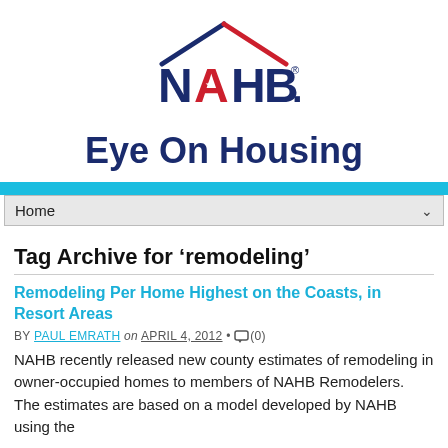[Figure (logo): NAHB logo with house outline in navy/red and 'NAHB.' text in navy and red]
Eye On Housing
[Figure (screenshot): Navigation bar with 'Home' dropdown]
Tag Archive for 'remodeling'
Remodeling Per Home Highest on the Coasts, in Resort Areas
BY PAUL EMRATH on APRIL 4, 2012 • (0)
NAHB recently released new county estimates of remodeling in owner-occupied homes to members of NAHB Remodelers.  The estimates are based on a model developed by NAHB using the